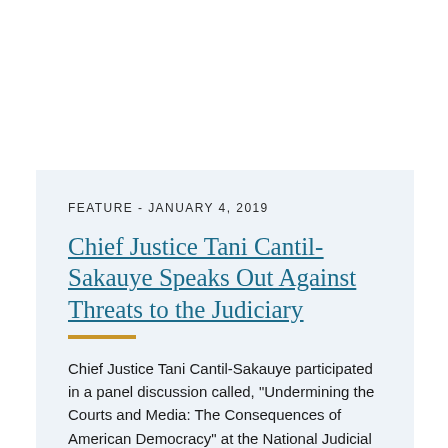FEATURE  -  JANUARY 4, 2019
Chief Justice Tani Cantil-Sakauye Speaks Out Against Threats to the Judiciary
Chief Justice Tani Cantil-Sakauye participated in a panel discussion called, "Undermining the Courts and Media: The Consequences of American Democracy" at the National Judicial College Judges and Journalists Symposium.